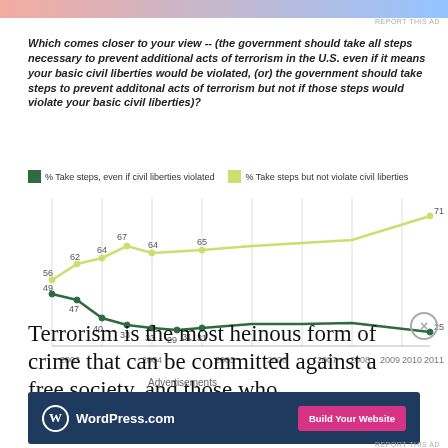REPORT THIS AD
Which comes closer to your view -- (the government should take all steps necessary to prevent additional acts of terrorism in the U.S. even if it means your basic civil liberties would be violated, (or) the government should take steps to prevent additonal acts of terrorism but not if those steps would violate your basic civil liberties)?
[Figure (line-chart): ]
GALLUP
Terrorism is the most heinous form of crime that can be committed against a free society, and those who
Advertisements
[Figure (logo): WordPress.com advertisement banner with blue background, WordPress logo, and Build Your Website button]